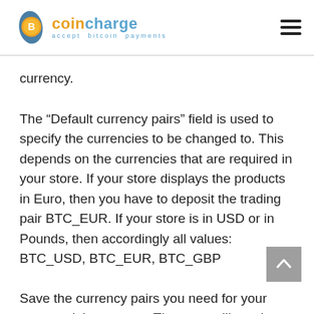coincharge — accept bitcoin payments
currency.
The “Default currency pairs” field is used to specify the currencies to be changed to. This depends on the currencies that are required in your store. If your store displays the products in Euro, then you have to deposit the trading pair BTC_EUR. If your store is in USD or in Pounds, then accordingly all values: BTC_USD, BTC_EUR, BTC_GBP
Save the currency pairs you need for your store and then restart. Then you will receive the